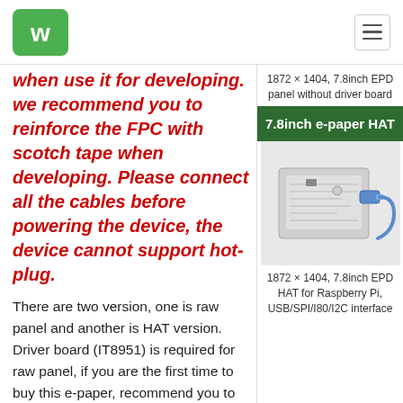Waveshare logo and navigation
when use it for developing. we recommend you to reinforce the FPC with scotch tape when developing. Please connect all the cables before powering the device, the device cannot support hot-plug.
There are two version, one is raw panel and another is HAT version. Driver board (IT8951) is required for raw panel, if you are the first time to buy this e-paper, recommend you to choose HAT version which come with the
1872 × 1404, 7.8inch EPD panel without driver board
7.8inch e-paper HAT
[Figure (photo): 7.8inch e-paper HAT product photo showing the device with USB connector and cable]
1872 × 1404, 7.8inch EPD HAT for Raspberry Pi, USB/SPI/I80/I2C interface